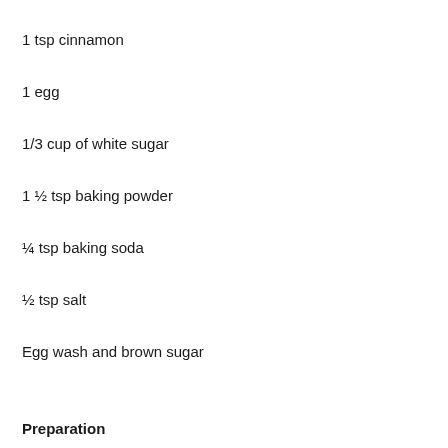1 tsp cinnamon
1 egg
1/3 cup of white sugar
1 ½ tsp baking powder
¼ tsp baking soda
½ tsp salt
Egg wash and brown sugar
Preparation